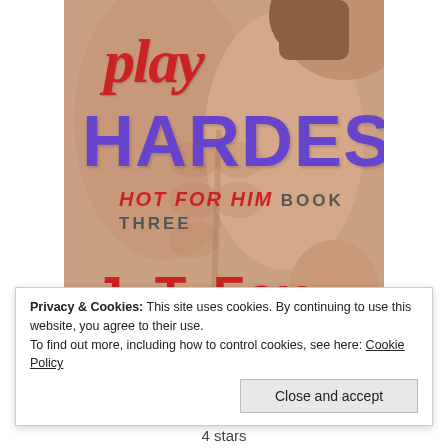[Figure (illustration): Book cover for 'Play Hardest: Hot for Him Book Three' by J.T. Fox. Features a shirtless male torso. Title 'play' in red cursive script, 'HARDEST' in large bold purple block letters, subtitle 'HOT FOR HIM' in red italic and 'BOOK THREE' in grey. Author name 'J. T. Fox' in large red bold text at the bottom.]
Privacy & Cookies: This site uses cookies. By continuing to use this website, you agree to their use.
To find out more, including how to control cookies, see here: Cookie Policy
Close and accept
4 stars